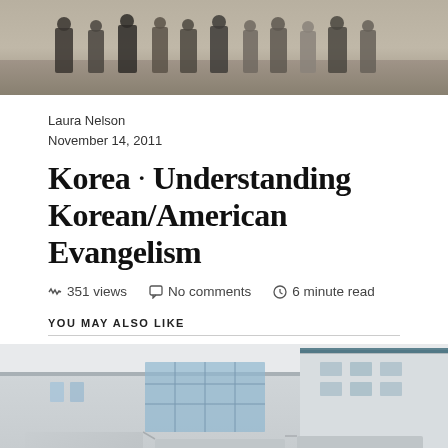[Figure (photo): Group of people standing together outdoors, cropped to show mostly their lower bodies and torsos against a paved background.]
Laura Nelson
November 14, 2011
Korea · Understanding Korean/American Evangelism
351 views   No comments   6 minute read
YOU MAY ALSO LIKE
[Figure (photo): Exterior view of a building with large glass windows and grey panel walls, taken from below looking up slightly.]